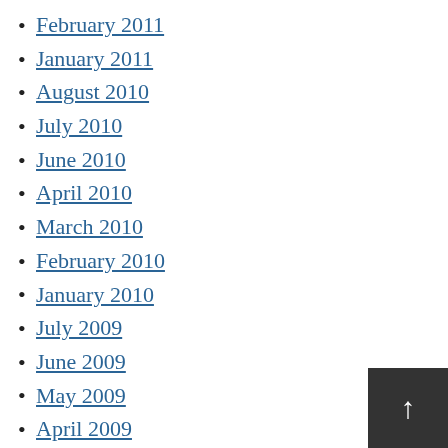February 2011
January 2011
August 2010
July 2010
June 2010
April 2010
March 2010
February 2010
January 2010
July 2009
June 2009
May 2009
April 2009
February 2009
January 2009
July 2008
June 2008
May 2008
April 2008